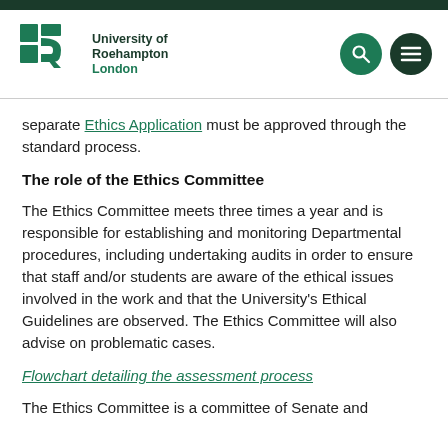University of Roehampton London
separate Ethics Application must be approved through the standard process.
The role of the Ethics Committee
The Ethics Committee meets three times a year and is responsible for establishing and monitoring Departmental procedures, including undertaking audits in order to ensure that staff and/or students are aware of the ethical issues involved in the work and that the University's Ethical Guidelines are observed. The Ethics Committee will also advise on problematic cases.
Flowchart detailing the assessment process
The Ethics Committee is a committee of Senate and